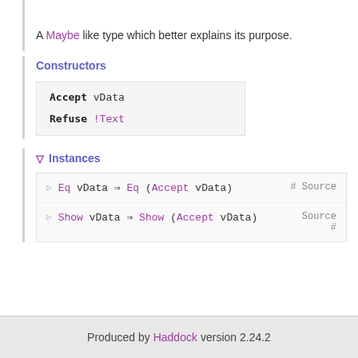A Maybe like type which better explains its purpose.
Constructors
Accept vData
Refuse !Text
▽ Instances
▷ Eq vData ⇒ Eq (Accept vData) # Source
▷ Show vData ⇒ Show (Accept vData) Source #
Produced by Haddock version 2.24.2